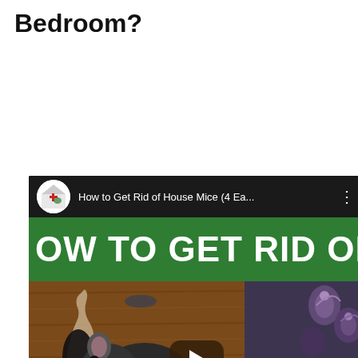Bedroom?
[Figure (screenshot): YouTube video thumbnail/embed showing 'How to Get Rid of House Mice (4 Ea...' with a channel logo, green banner reading 'OW TO GET RID OF', a play button in the center, a black-and-white mouse near a chewed hole in wood, and bottom text reading 'HOUSE MI' on dark background.]